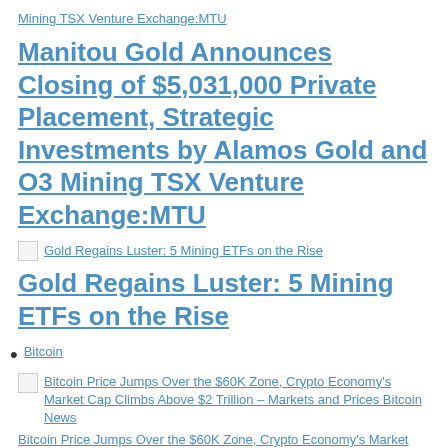Mining TSX Venture Exchange:MTU
Manitou Gold Announces Closing of $5,031,000 Private Placement, Strategic Investments by Alamos Gold and O3 Mining TSX Venture Exchange:MTU
[Figure (photo): Thumbnail image for article: Gold Regains Luster: 5 Mining ETFs on the Rise]
Gold Regains Luster: 5 Mining ETFs on the Rise
Bitcoin
[Figure (photo): Thumbnail image for article about Bitcoin Price Jumps Over the $60K Zone]
Bitcoin Price Jumps Over the $60K Zone, Crypto Economy's Market Cap Climbs Above $2 Trillion – Markets and Prices Bitcoin News
Bitcoin Price Jumps Over the $60K Zone, Crypto Economy's Market Cap Climbs